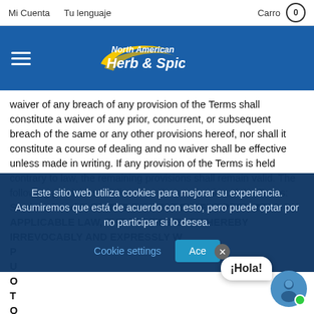Mi Cuenta   Tu lenguaje   Carro  0
[Figure (logo): North American Herb & Spice logo with yellow swoosh on blue background, hamburger menu icon on left]
waiver of any breach of any provision of the Terms shall constitute a waiver of any prior, concurrent, or subsequent breach of the same or any other provisions hereof, nor shall it constitute a course of dealing and no waiver shall be effective unless made in writing. If any provision of the Terms is held contrary to law, the remaining provisions shall remain valid. The following provisions shall survive the termination of the Terms: Sections 3 and 7. TO THE FULLEST EXTENT PERMITTED BY APPLICABLE LAW, THE PARTIES EACH HEREBY IRREVOCABLY AND EXPRESSLY W... P... U... O... T... O... ADMINISTRATION, OR ENFORCEMENT HEREOF OR THEREOF.  THE PARTIES ACKNOWLEDGE THAT SUCH
Este sitio web utiliza cookies para mejorar su experiencia. Asumiremos que está de acuerdo con esto, pero puede optar por no participar si lo desea.
Cookie settings   Ace...
¡Hola!